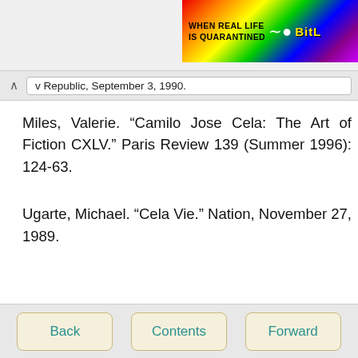[Figure (screenshot): Partial banner advertisement with rainbow background, text 'WHEN REAL LIFE IS QUARANTINED' and 'BitL' logo in yellow]
v Republic, September 3, 1990.
Miles, Valerie. “Camilo Jose Cela: The Art of Fiction CXLV.” Paris Review 139 (Summer 1996): 124-63.
Ugarte, Michael. “Cela Vie.” Nation, November 27, 1989.
Back
Contents
Forward